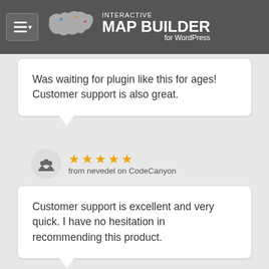[Figure (logo): Interactive Map Builder for WordPress header logo with menu button, world map graphic, and title text]
Was waiting for plugin like this for ages! Customer support is also great.
★★★★★ from nevedel on CodeCanyon
Customer support is excellent and very quick. I have no hesitation in recommending this product.
★★★★★ from gigaman on CodeCanyon
EXAMPLE FOR A SIDEBAR MAP